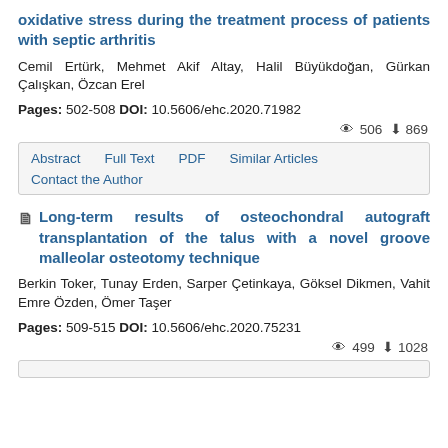oxidative stress during the treatment process of patients with septic arthritis
Cemil Ertürk, Mehmet Akif Altay, Halil Büyükdoğan, Gürkan Çalışkan, Özcan Erel
Pages: 502-508 DOI: 10.5606/ehc.2020.71982
506 869
| Abstract | Full Text | PDF | Similar Articles |
| Contact the Author |
Long-term results of osteochondral autograft transplantation of the talus with a novel groove malleolar osteotomy technique
Berkin Toker, Tunay Erden, Sarper Çetinkaya, Göksel Dikmen, Vahit Emre Özden, Ömer Taşer
Pages: 509-515 DOI: 10.5606/ehc.2020.75231
499 1028